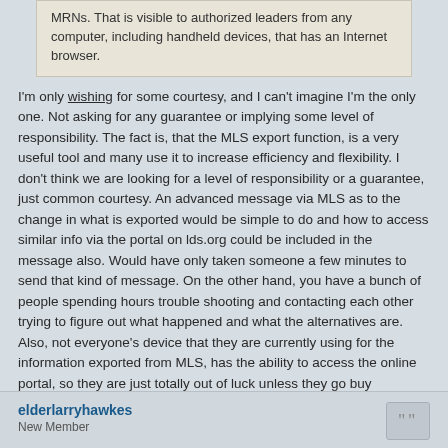MRNs. That is visible to authorized leaders from any computer, including handheld devices, that has an Internet browser.
I'm only wishing for some courtesy, and I can't imagine I'm the only one. Not asking for any guarantee or implying some level of responsibility. The fact is, that the MLS export function, is a very useful tool and many use it to increase efficiency and flexibility. I don't think we are looking for a level of responsibility or a guarantee, just common courtesy. An advanced message via MLS as to the change in what is exported would be simple to do and how to access similar info via the portal on lds.org could be included in the message also. Would have only taken someone a few minutes to send that kind of message. On the other hand, you have a bunch of people spending hours trouble shooting and contacting each other trying to figure out what happened and what the alternatives are. Also, not everyone's device that they are currently using for the information exported from MLS, has the ability to access the online portal, so they are just totally out of luck unless they go buy something else. So some consideration and simple courtesy would go along ways in regard to these kind of changes.
elderlarryhawkes
New Member